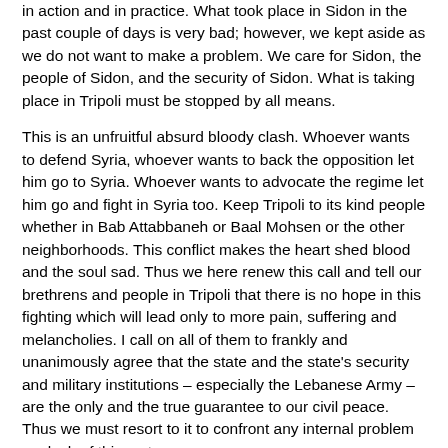in action and in practice. What took place in Sidon in the past couple of days is very bad; however, we kept aside as we do not want to make a problem. We care for Sidon, the people of Sidon, and the security of Sidon. What is taking place in Tripoli must be stopped by all means.
This is an unfruitful absurd bloody clash. Whoever wants to defend Syria, whoever wants to back the opposition let him go to Syria. Whoever wants to advocate the regime let him go and fight in Syria too. Keep Tripoli to its kind people whether in Bab Attabbaneh or Baal Mohsen or the other neighborhoods. This conflict makes the heart shed blood and the soul sad. Thus we here renew this call and tell our brethrens and people in Tripoli that there is no hope in this fighting which will lead only to more pain, suffering and melancholies. I call on all of them to frankly and unanimously agree that the state and the state's security and military institutions – especially the Lebanese Army – are the only and the true guarantee to our civil peace. Thus we must resort to it to confront any internal problem or clash of this sort.